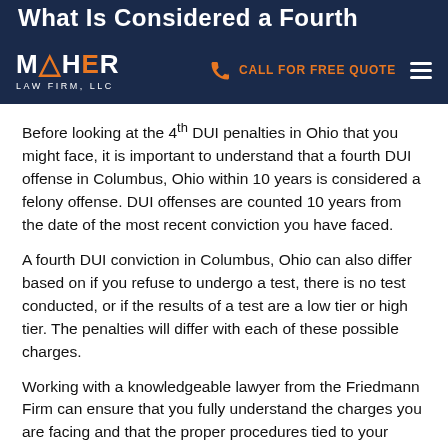What Is Considered a Fourth... | MAHER LAW FIRM, LLC | CALL FOR FREE QUOTE
Before looking at the 4th DUI penalties in Ohio that you might face, it is important to understand that a fourth DUI offense in Columbus, Ohio within 10 years is considered a felony offense. DUI offenses are counted 10 years from the date of the most recent conviction you have faced.
A fourth DUI conviction in Columbus, Ohio can also differ based on if you refuse to undergo a test, there is no test conducted, or if the results of a test are a low tier or high tier. The penalties will differ with each of these possible charges.
Working with a knowledgeable lawyer from the Friedmann Firm can ensure that you fully understand the charges you are facing and that the proper procedures tied to your offense are followed.